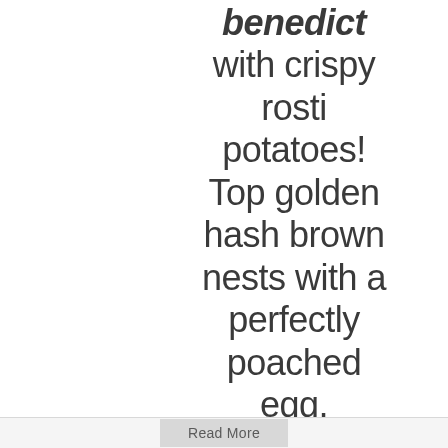benedict with crispy rosti potatoes! Top golden hash brown nests with a perfectly poached egg, hollandaise, bacon bits and chives. It's a egg brunch dish that EVERYONE will love.
Read More